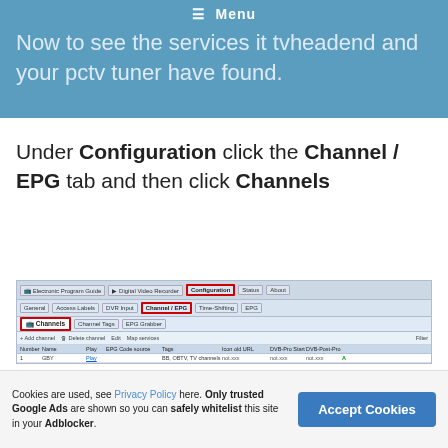Now to see the services it tvheadend and your pctv tuner have found.
Under Configuration click the Channel / EPG tab and then click Channels
[Figure (screenshot): Screenshot of the tvheadend web interface showing the Configuration > Channel / EPG > Channels tab with a table listing channels including GBY, GED, Rural Midland, TV-2PYB, FYMBUSH, GBYba, GBYba with columns for Number, Name, Play, EPG Code source, Tags, Icon old URL, DVB-Pro Start, DVB-Post-Pro]
Tvheadend recording on the Raspberry Pi is
Cookies are used, see Privacy Policy here. Only trusted Google Ads are shown so you can safely whitelist this site in your Adblocker.